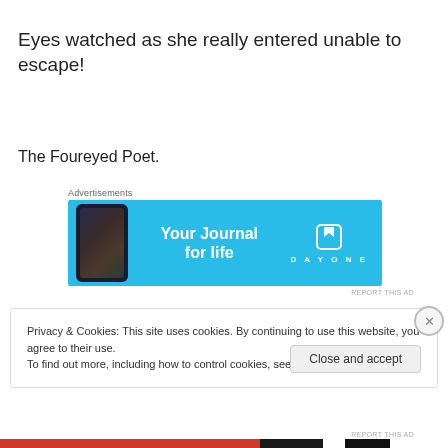Eyes watched as she really entered unable to escape!
The Foureyed Poet.
[Figure (other): Advertisement banner for DayOne journal app with blue background, phone mockup on left, text 'Your Journal for life' in center, DayOne logo and icon on right.]
Privacy & Cookies: This site uses cookies. By continuing to use this website, you agree to their use.
To find out more, including how to control cookies, see here: Cookie Policy
Close and accept